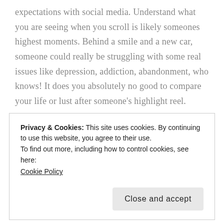expectations with social media. Understand what you are seeing when you scroll is likely someones highest moments. Behind a smile and a new car, someone could really be struggling with some real issues like depression, addiction, abandonment, who knows! It does you absolutely no good to compare your life or lust after someone's highlight reel.

So, how do you avoid this? In a recent sermon, our pastor told us to stop perusing happiness. Yes, you read that right, stop chasing happiness. Why? Because,
Privacy & Cookies: This site uses cookies. By continuing to use this website, you agree to their use.
To find out more, including how to control cookies, see here: Cookie Policy